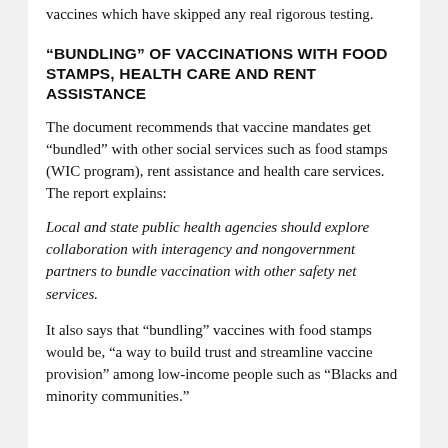vaccines which have skipped any real rigorous testing.
“BUNDLING” OF VACCINATIONS WITH FOOD STAMPS, HEALTH CARE AND RENT ASSISTANCE
The document recommends that vaccine mandates get “bundled” with other social services such as food stamps (WIC program), rent assistance and health care services. The report explains:
Local and state public health agencies should explore collaboration with interagency and nongovernment partners to bundle vaccination with other safety net services.
It also says that “bundling” vaccines with food stamps would be, “a way to build trust and streamline vaccine provision” among low-income people such as “Blacks and minority communities.”